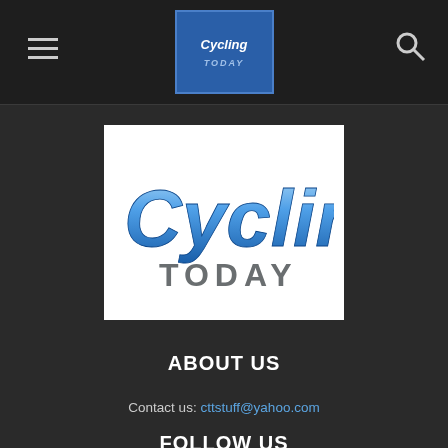Cycling Today - navigation header with hamburger menu and search icon
[Figure (logo): Cycling Today logo - large blue stylized text reading 'Cycling TODAY' on white background]
ABOUT US
Contact us: cttstuff@yahoo.com
FOLLOW US